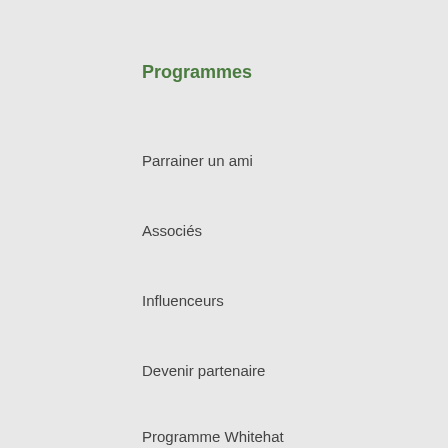Programmes
Parrainer un ami
Associés
Influenceurs
Devenir partenaire
Programme Whitehat
Ressources
Quelle est mon adresse IP ?
Test de fuite DNS
Test de fuite e-mail
Test de fuite IPv6